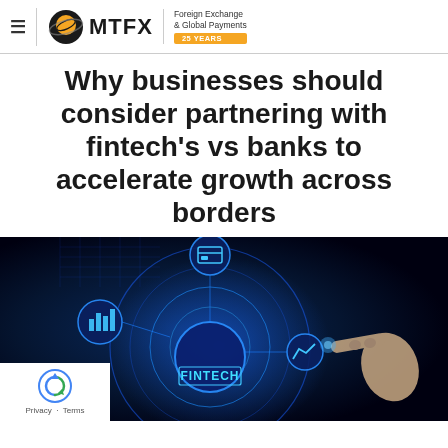MTFX | Foreign Exchange & Global Payments | 25 YEARS
Why businesses should consider partnering with fintech’s vs banks to accelerate growth across borders
[Figure (photo): A hand touching a glowing blue digital fintech interface with circular icons representing financial technology services, with 'FINTECH' text displayed prominently in the center]